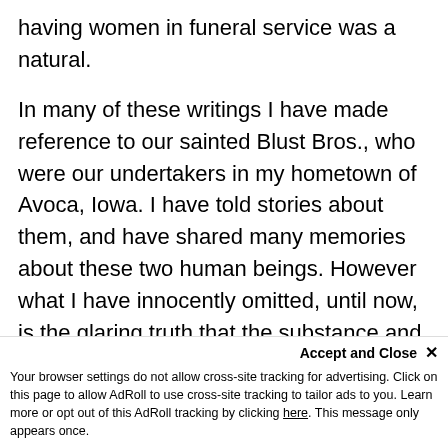having women in funeral service was a natural.

In many of these writings I have made reference to our sainted Blust Bros., who were our undertakers in my hometown of Avoca, Iowa. I have told stories about them, and have shared many memories about these two human beings. However what I have innocently omitted, until now, is the glaring truth that the substance and foundation of the Blust Bros. Funeral Home was not the two...
Accept and Close ✕
Your browser settings do not allow cross-site tracking for advertising. Click on this page to allow AdRoll to use cross-site tracking to tailor ads to you. Learn more or opt out of this AdRoll tracking by clicking here. This message only appears once.
Blust's wife, Hattie.